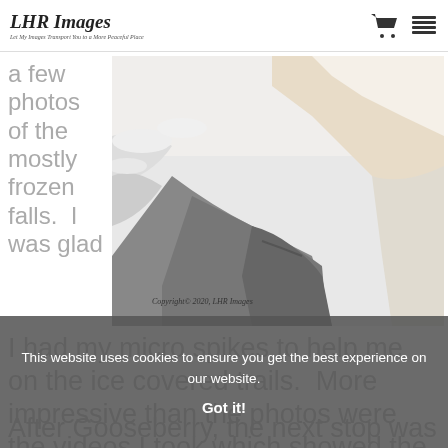LHR Images — Let My Images Transport You to a More Peaceful Place
a few photos of the mostly frozen falls.  I was glad
[Figure (photo): Winter photograph of a mostly frozen waterfall with snow-covered rocks and ice formations. A small stream of water flows beneath the ice. Copyright 2020, LHR Images watermark visible.]
I had my micro spikes to help me on the ice covered trails.  More impressive than the photos were the videos I took which showed the water flowing beneath the ice.
After Gooseberry, the next stop was the overlook at Split Rock Lighthouse State
This website uses cookies to ensure you get the best experience on our website.
Got it!